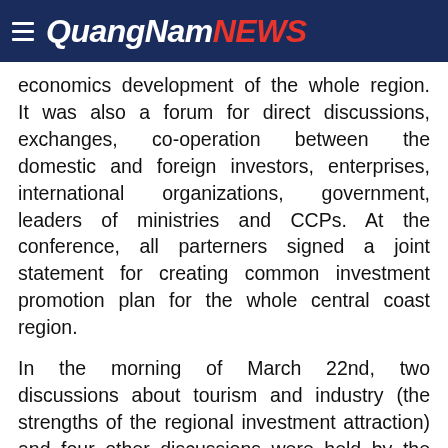Quang Nam NEWS
economics development of the whole region. It was also a forum for direct discussions, exchanges, co-operation between the domestic and foreign investors, enterprises, international organizations, government, leaders of ministries and CCPs. At the conference, all parterners signed a joint statement for creating common investment promotion plan for the whole central coast region.
In the morning of March 22nd, two discussions about tourism and industry (the strengths of the regional investment attraction) and four other discussions were held by the People's Committees of Da Nang, Quang Ngai, Phu Yen and Binh Thuan provinces. In the afternoon, a dialogue took place between Party's secretaries, People's Committee chairperson of 9 CCPs